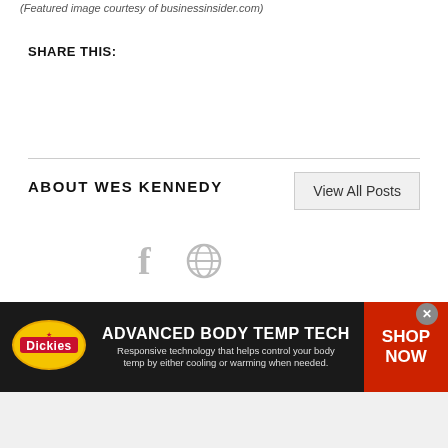(Featured image courtesy of businessinsider.com)
SHARE THIS:
ABOUT WES KENNEDY
View All Posts
[Figure (other): Social media icons: Facebook and a globe/web icon, shown in light gray]
[Figure (other): Dickies advertisement banner: Advanced Body Temp Tech. Responsive technology that helps control your body temp by either cooling or warming when needed. SHOP NOW]
ADVANCED BODY TEMP TECH
Responsive technology that helps control your body temp by either cooling or warming when needed.
SHOP NOW